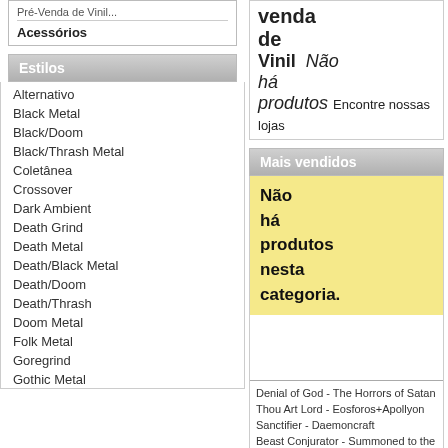Acessórios
Estilos
Alternativo
Black Metal
Black/Doom
Black/Thrash Metal
Coletânea
Crossover
Dark Ambient
Death Grind
Death Metal
Death/Black Metal
Death/Doom
Death/Thrash
Doom Metal
Folk Metal
Goregrind
Gothic Metal
venda de Vinil Não há produtos Encontre nossas lojas
Mais vendidos
Não há produtos nesta categoria.
Denial of God - The Horrors of Satan
Thou Art Lord - Eosforos+Apollyon
Sanctifier - Daemoncraft
Beast Conjurator - Summoned to the Abyss